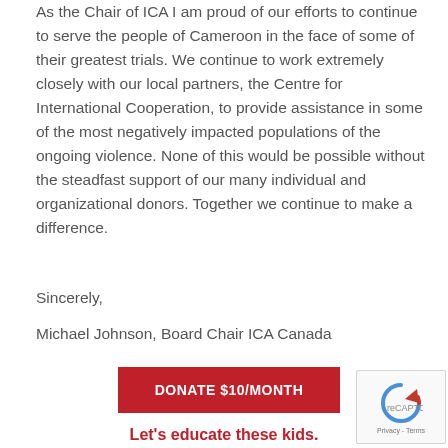As the Chair of ICA I am proud of our efforts to continue to serve the people of Cameroon in the face of some of their greatest trials. We continue to work extremely closely with our local partners, the Centre for International Cooperation, to provide assistance in some of the most negatively impacted populations of the ongoing violence. None of this would be possible without the steadfast support of our many individual and organizational donors. Together we continue to make a difference.
Sincerely,
Michael Johnson, Board Chair ICA Canada
[Figure (other): Red donate button with white text reading DONATE $10/MONTH]
[Figure (other): reCAPTCHA Privacy & Terms badge on the right side]
Let's educate these kids.